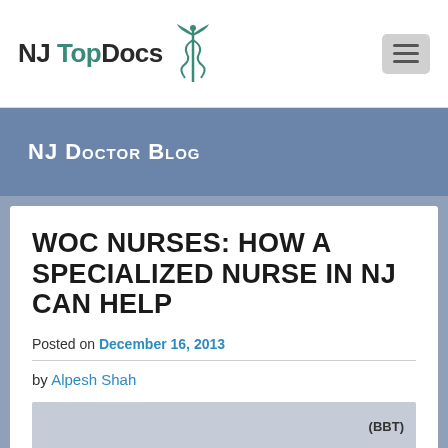NJ TopDocs
NJ Doctor Blog
WOC NURSES: HOW A SPECIALIZED NURSE IN NJ CAN HELP
Posted on December 16, 2013
by Alpesh Shah
[Figure (photo): Partial view of a nurse or medical professional image at the bottom of the article card, with text label (BBT) visible on the right side]